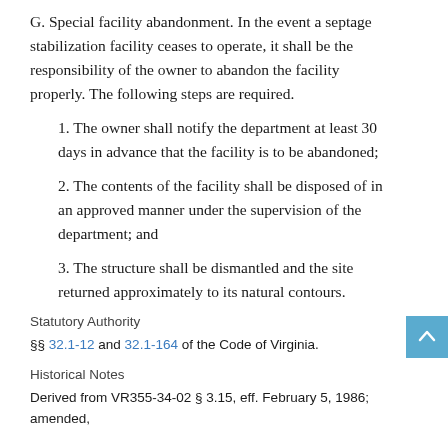G. Special facility abandonment. In the event a septage stabilization facility ceases to operate, it shall be the responsibility of the owner to abandon the facility properly. The following steps are required.
1. The owner shall notify the department at least 30 days in advance that the facility is to be abandoned;
2. The contents of the facility shall be disposed of in an approved manner under the supervision of the department; and
3. The structure shall be dismantled and the site returned approximately to its natural contours.
Statutory Authority
§§ 32.1-12 and 32.1-164 of the Code of Virginia.
Historical Notes
Derived from VR355-34-02 § 3.15, eff. February 5, 1986; amended,